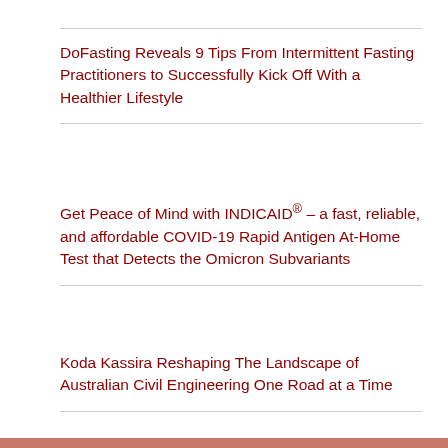DoFasting Reveals 9 Tips From Intermittent Fasting Practitioners to Successfully Kick Off With a Healthier Lifestyle
Get Peace of Mind with INDICAID® – a fast, reliable, and affordable COVID-19 Rapid Antigen At-Home Test that Detects the Omicron Subvariants
Koda Kassira Reshaping The Landscape of Australian Civil Engineering One Road at a Time
Bobby Baker, A Brand's Secret Weapon To Growing Their Customer Base